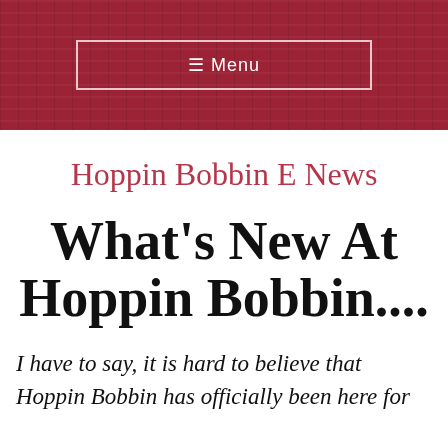≡ Menu
Hoppin Bobbin E News
What's New At Hoppin Bobbin....
I have to say, it is hard to believe that Hoppin Bobbin has officially been here for